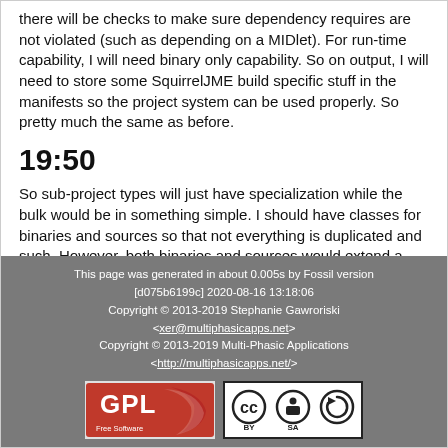there will be checks to make sure dependency requires are not violated (such as depending on a MIDlet). For run-time capability, I will need binary only capability. So on output, I will need to store some SquirrelJME build specific stuff in the manifests so the project system can be used properly. So pretty much the same as before.
19:50
So sub-project types will just have specialization while the bulk would be in something simple. I should have classes for binaries and sources so that not everything is duplicated and such. However, both binaries and sources would extend a base class for the most part.
This page was generated in about 0.005s by Fossil version [d075b6199c] 2020-08-16 13:18:06 Copyright © 2013-2019 Stephanie Gawroriski <xer@multiphasicapps.net> Copyright © 2013-2019 Multi-Phasic Applications <http://multiphasicapps.net/>
[Figure (logo): GPL Free Software logo]
[Figure (logo): Creative Commons BY SA license badge]